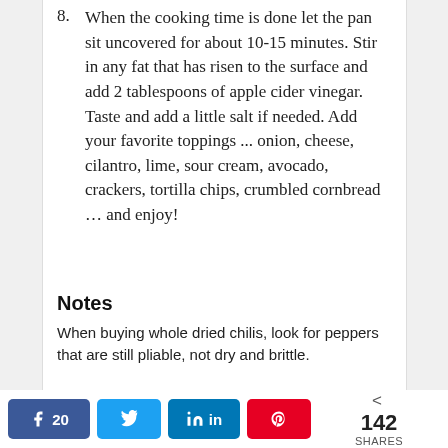8. When the cooking time is done let the pan sit uncovered for about 10-15 minutes. Stir in any fat that has risen to the surface and add 2 tablespoons of apple cider vinegar. Taste and add a little salt if needed. Add your favorite toppings ... onion, cheese, cilantro, lime, sour cream, avocado, crackers, tortilla chips, crumbled cornbread … and enjoy!
Notes
When buying whole dried chilis, look for peppers that are still pliable, not dry and brittle.
A lesson learned from America's Test Kitchen: Adding some baking soda to the meat helps it
20  SHARES  142